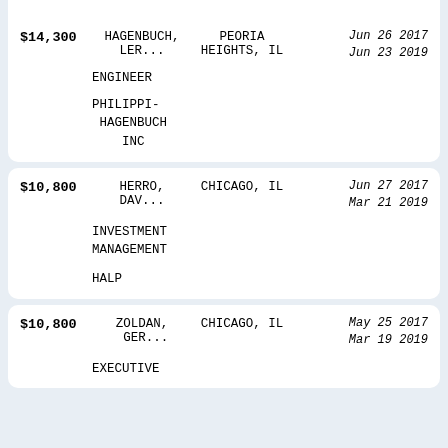| Amount | Name | City | Dates |
| --- | --- | --- | --- |
| $14,300 | HAGENBUCH, LER... | PEORIA HEIGHTS, IL | Jun 26 2017
Jun 23 2019 |
|  | ENGINEER |  |  |
|  | PHILIPPI-HAGENBUCH INC |  |  |
| $10,800 | HERRO, DAV... | CHICAGO, IL | Jun 27 2017
Mar 21 2019 |
|  | INVESTMENT MANAGEMENT |  |  |
|  | HALP |  |  |
| $10,800 | ZOLDAN, GER... | CHICAGO, IL | May 25 2017
Mar 19 2019 |
|  | EXECUTIVE |  |  |